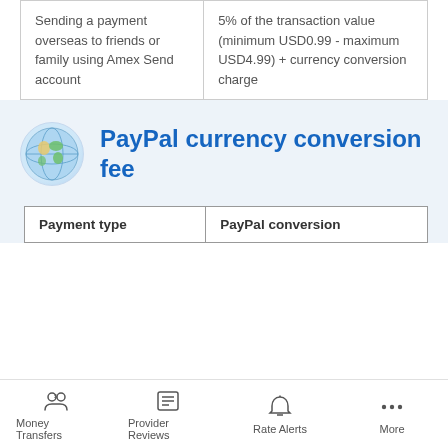|  |  |
| --- | --- |
| Sending a payment overseas to friends or family using Amex Send account | 5% of the transaction value (minimum USD0.99 - maximum USD4.99) + currency conversion charge |
PayPal currency conversion fee
| Payment type | PayPal conversion |
| --- | --- |
Money Transfers | Provider Reviews | Rate Alerts | More